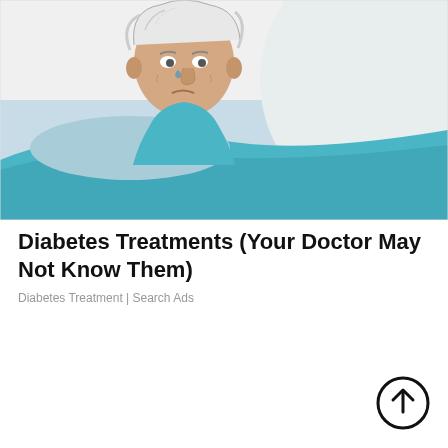[Figure (illustration): Cartoon illustration of an elderly person lying in bed under a teal blanket, looking distressed, with a white decorative element or pillow behind them.]
Diabetes Treatments (Your Doctor May Not Know Them)
Diabetes Treatment | Search Ads